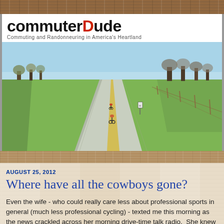commuterDude — Commuting and Randonneuring in America's Heartland
[Figure (photo): A straight rural road stretching to the horizon through flat green farmland with bare trees on the right side; two cyclists visible on the road]
AUGUST 25, 2012
Where have all the cowboys gone?
Even the wife - who could really care less about professional sports in general (much less professional cycling) - texted me this morning as the news crackled across her morning drive-time talk radio.  She knew I'd be interested, and she was right.